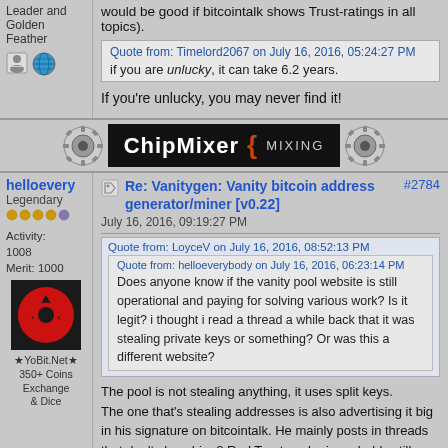Leader and Golden Feather
would be good if bitcointalk shows Trust-ratings in all topics).
Quote from: Timelord2067 on July 16, 2016, 05:24:27 PM
if you are unlucky, it can take 6.2 years.
If you're unlucky, you may never find it!
[Figure (logo): ChipMixer { MIXING advertisement banner]
helloevery
Legendary
Activity: 1008
Merit: 1000
[Figure (photo): User avatar with red logo on black background]
★YoBit.Net★ 350+ Coins Exchange & Dice
Re: Vanitygen: Vanity bitcoin address generator/miner [v0.22]
#2784
July 16, 2016, 09:19:27 PM
Quote from: LoyceV on July 16, 2016, 08:52:13 PM
Quote from: helloeverybody on July 16, 2016, 06:23:14 PM
Does anyone know if the vanity pool website is still operational and paying for solving various work? Is it legit? i thought i read a thread a while back that it was stealing private keys or something? Or was this a different website?
The pool is not stealing anything, it uses split keys.
The one that's stealing addresses is also advertising it big in his signature on bitcointalk. He mainly posts in threads that don't show his -8 Red Trust, so he is probably still making new victims up to now. (I think it would be good if